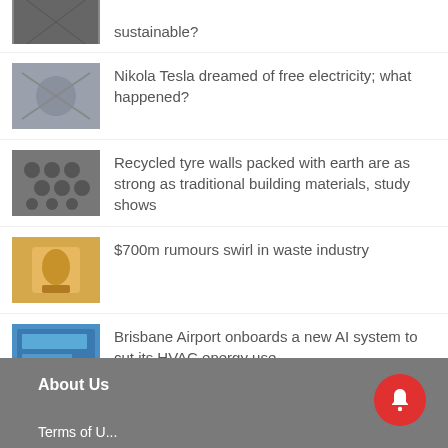sustainable?
Nikola Tesla dreamed of free electricity; what happened?
Recycled tyre walls packed with earth are as strong as traditional building materials, study shows
$700m rumours swirl in waste industry
Brisbane Airport onboards a new AI system to cut its HVAC energy use
Here’s what Putin’s energy blackmail is doing in Europe
About Us